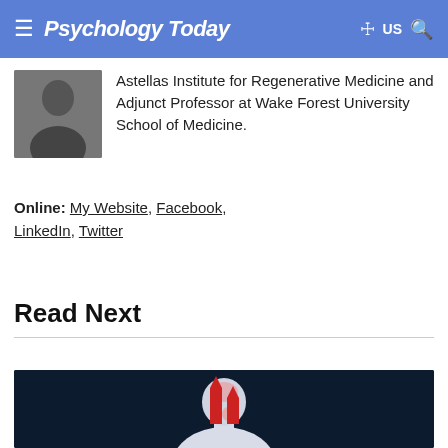Psychology Today — US
Astellas Institute for Regenerative Medicine and Adjunct Professor at Wake Forest University School of Medicine.
Online: My Website, Facebook, LinkedIn, Twitter
Read Next
[Figure (illustration): Medical illustration of a human figure in profile on a dark navy background, showing the brain and throat area with red arrows pointing upward, depicting neural or physiological pathways.]